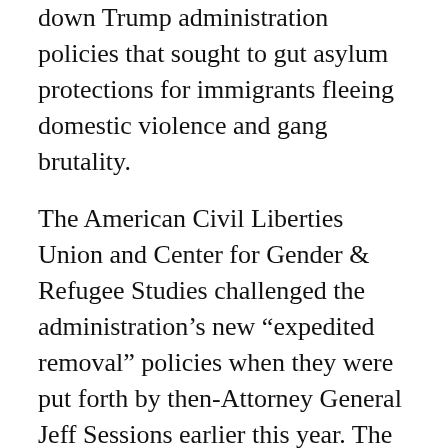down Trump administration policies that sought to gut asylum protections for immigrants fleeing domestic violence and gang brutality.
The American Civil Liberties Union and Center for Gender & Refugee Studies challenged the administration’s new “expedited removal” policies when they were put forth by then-Attorney General Jeff Sessions earlier this year. The policies applied to recently arrived immigrants who express fear of returning to their home countries while in summary removal proceedings.
Judge Emmet Sullivan of the U.S. District Court in Washington, D.C., held that the